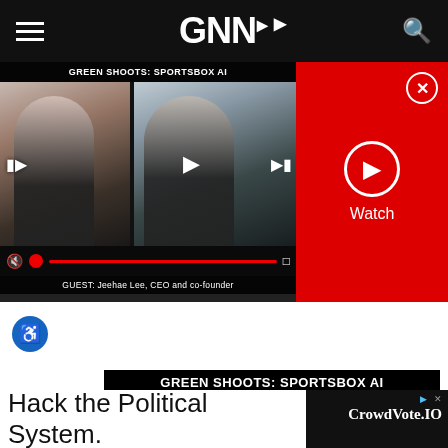GNN
[Figure (screenshot): GNN video player showing 'GREEN SHOOTS: SPORTSBOX AI' with two video thumbnails of a woman and a man, playback controls, and guest label 'GUEST: Jeehae Lee, CEO and co-founder']
Watch
[Figure (screenshot): Second GNN video thumbnail showing 'GREEN SHOOTS: SPORTSBOX AI' with partial video thumbnails]
Hack the Political System.
CrowdVote.IO